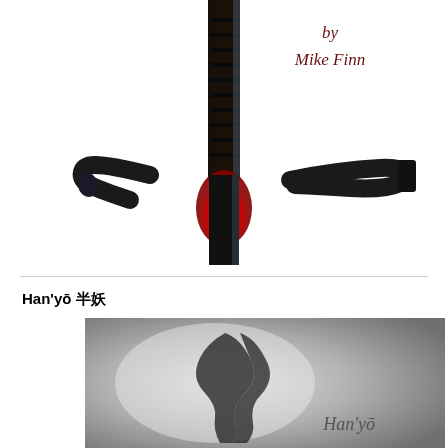[Figure (illustration): Book cover image showing a dark sword/rapier with a red bloodstained area, photographed on white background. Text overlay reads 'by Mike Finn' in dark red/maroon serif font.]
Han'yō 半妖
[Figure (illustration): Black and white soft-focus photograph showing an abstract blurred silhouette, with text 'Han'yō' in italic serif font in the lower right corner.]